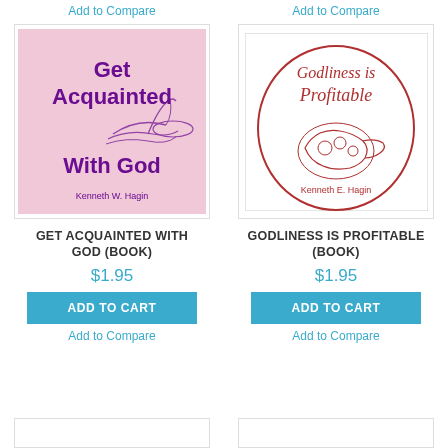Add to Compare
Add to Compare
[Figure (photo): Book cover: Get Acquainted With God by Kenneth W. Hagin, pink background with purple text and hand illustration]
[Figure (photo): Book cover: Godliness is Profitable by Kenneth E. Hagin, white with red oval logo and cornucopia illustration]
GET ACQUAINTED WITH GOD (BOOK)
GODLINESS IS PROFITABLE (BOOK)
$1.95
$1.95
ADD TO CART
ADD TO CART
Add to Compare
Add to Compare